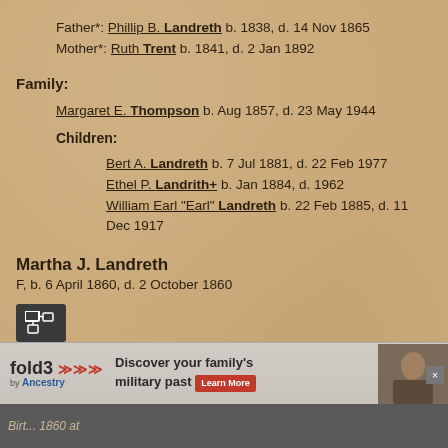Father*: Phillip B. Landreth b. 1838, d. 14 Nov 1865
Mother*: Ruth Trent b. 1841, d. 2 Jan 1892
Family:
Margaret E. Thompson b. Aug 1857, d. 23 May 1944
Children:
Bert A. Landreth b. 7 Jul 1881, d. 22 Feb 1977
Ethel P. Landrith+ b. Jan 1884, d. 1962
William Earl "Earl" Landreth b. 22 Feb 1885, d. 11 Dec 1917
Martha J. Landreth
F, b. 6 April 1860, d. 2 October 1860
Charts:
Thomas A Landreth Descendants
Birt... 1860 at